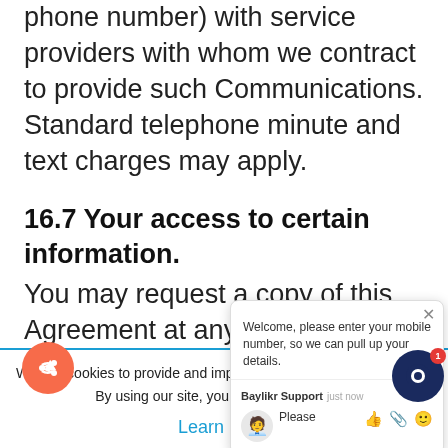phone number) with service providers with whom we contract to provide such Communications. Standard telephone minute and text charges may apply.
16.7 Your access to certain information.
You may request a copy of this Agreement at any time from us while this Agreement has not ended between us. We will
We use cookies to provide and improve our service.
By using our site, you consent to cookies.
Learn more
[Figure (screenshot): Chat widget popup with welcome message: 'Welcome, please enter your mobile number, so we can pull up your details.' with agent named 'Baylikr Support' and reply input area.]
[Figure (illustration): Orange circular share/reply button icon at bottom left]
[Figure (illustration): Dark navy chat bubble button with red notification badge showing '1' at bottom right]